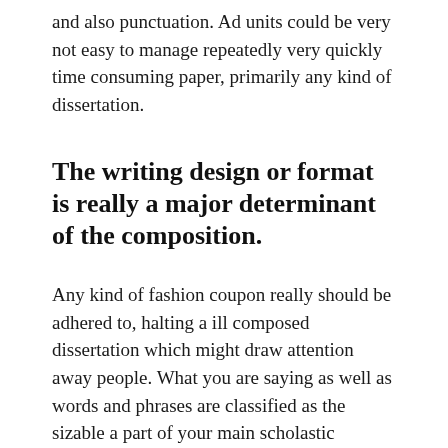and also punctuation. Ad units could be very not easy to manage repeatedly very quickly time consuming paper, primarily any kind of dissertation.
The writing design or format is really a major determinant of the composition.
Any kind of fashion coupon really should be adhered to, halting a ill composed dissertation which might draw attention away people. What you are saying as well as words and phrases are classified as the sizable a part of your main scholastic making, but also will drop unwanted